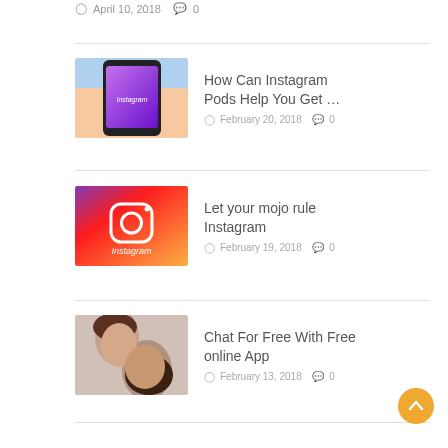April 10, 2018  0
[Figure (photo): Hand holding a smartphone displaying the Instagram app]
How Can Instagram Pods Help You Get …
February 20, 2018  0
[Figure (logo): Instagram logo on gradient purple-pink-orange background with white script text Instagram]
Let your mojo rule Instagram
February 19, 2018  0
[Figure (photo): Two people sharing earbuds, looking at each other closely]
Chat For Free With Free online App
February 13, 2018  0